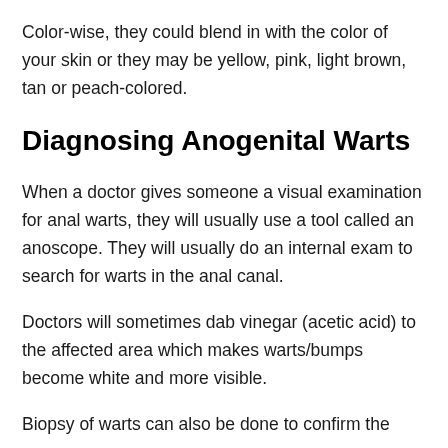Color-wise, they could blend in with the color of your skin or they may be yellow, pink, light brown, tan or peach-colored.
Diagnosing Anogenital Warts
When a doctor gives someone a visual examination for anal warts, they will usually use a tool called an anoscope. They will usually do an internal exam to search for warts in the anal canal.
Doctors will sometimes dab vinegar (acetic acid) to the affected area which makes warts/bumps become white and more visible.
Biopsy of warts can also be done to confirm the